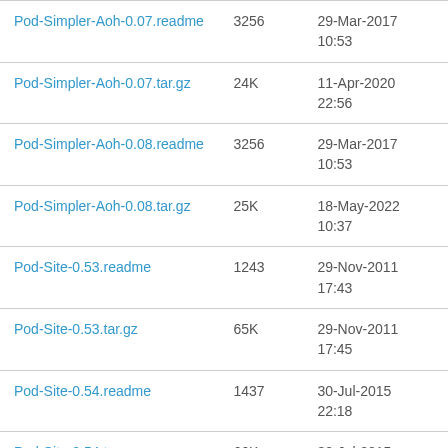| Name | Size | Date |
| --- | --- | --- |
| Pod-Simpler-Aoh-0.07.readme | 3256 | 29-Mar-2017
10:53 |
| Pod-Simpler-Aoh-0.07.tar.gz | 24K | 11-Apr-2020
22:56 |
| Pod-Simpler-Aoh-0.08.readme | 3256 | 29-Mar-2017
10:53 |
| Pod-Simpler-Aoh-0.08.tar.gz | 25K | 18-May-2022
10:37 |
| Pod-Site-0.53.readme | 1243 | 29-Nov-2011
17:43 |
| Pod-Site-0.53.tar.gz | 65K | 29-Nov-2011
17:45 |
| Pod-Site-0.54.readme | 1437 | 30-Jul-2015
22:18 |
| Pod-Site-0.54.tar.gz | 66K | 30-Jul-2015
22:19 |
| Pod-Site-0.55.readme | 1437 | 30-Jul-2015
22:53 |